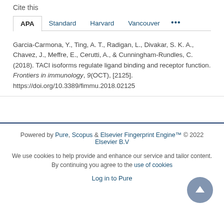Cite this
APA    Standard    Harvard    Vancouver    ...
Garcia-Carmona, Y., Ting, A. T., Radigan, L., Divakar, S. K. A., Chavez, J., Meffre, E., Cerutti, A., & Cunningham-Rundles, C. (2018). TACI isoforms regulate ligand binding and receptor function. Frontiers in immunology, 9(OCT), [2125]. https://doi.org/10.3389/fimmu.2018.02125
Powered by Pure, Scopus & Elsevier Fingerprint Engine™ © 2022 Elsevier B.V

We use cookies to help provide and enhance our service and tailor content. By continuing you agree to the use of cookies

Log in to Pure